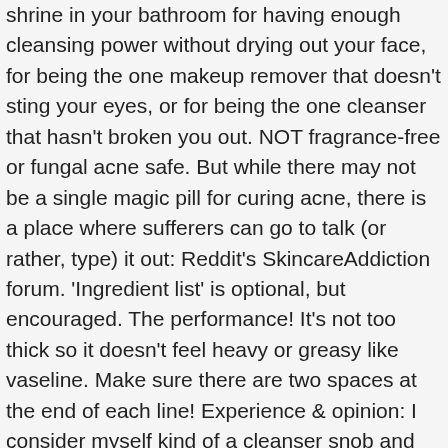shrine in your bathroom for having enough cleansing power without drying out your face, for being the one makeup remover that doesn't sting your eyes, or for being the one cleanser that hasn't broken you out. NOT fragrance-free or fungal acne safe. But while there may not be a single magic pill for curing acne, there is a place where sufferers can go to talk (or rather, type) it out: Reddit's SkincareAddiction forum. 'Ingredient list' is optional, but encouraged. The performance! It's not too thick so it doesn't feel heavy or greasy like vaseline. Make sure there are two spaces at the end of each line! Experience & opinion: I consider myself kind of a cleanser snob and have tried high end, quadruple the price cleansers but this is my HG. I avoid copper peptides as much as I can because there are many anecdotal reports of copper peptides causing skin damage. Press J to jump to the feed. Ingredients: Sodium Lauroyl Isethionate, Stearic Acid, Lauric Acid, Sodium Tallowate or Sodium Palmitate, Water (Aqua), Sodium Isethionate, Sodium Stearate, Cocoamidopropyl Betaine, Sodium